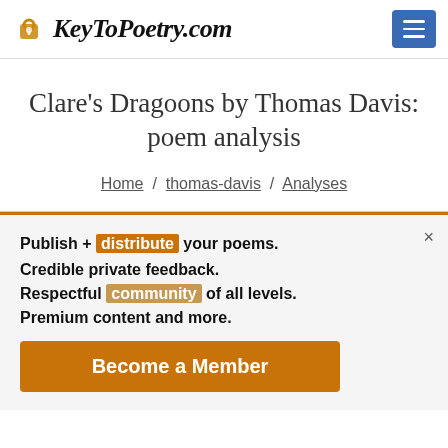KeyToPoetry.com
Clare's Dragoons by Thomas Davis: poem analysis
Home / thomas-davis / Analyses
Publish + distribute your poems.
Credible private feedback.
Respectful community of all levels.
Premium content and more.
Become a Member